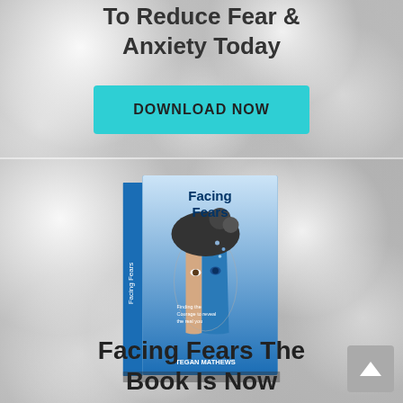To Reduce Fear & Anxiety Today
[Figure (other): Teal/cyan DOWNLOAD NOW button on bokeh background]
[Figure (illustration): Book cover for 'Facing Fears: Finding the Courage to Reveal the Real You' by Tegan Mathews, showing a woman's face split between natural and artistic/painted halves]
Facing Fears The Book Is Now